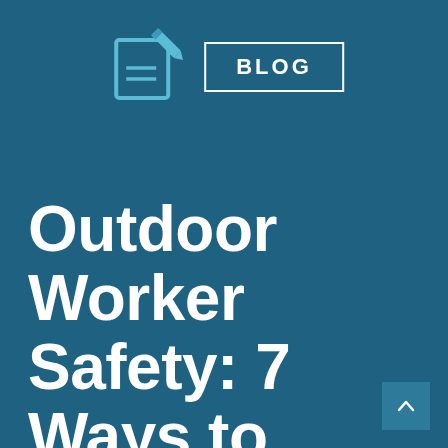[Figure (logo): Blog icon: a clipboard with pencil icon in teal/light blue outline style, and a rectangle with the word BLOG in bold white uppercase letters with a white border]
Outdoor Worker Safety: 7 Ways to Protect Against